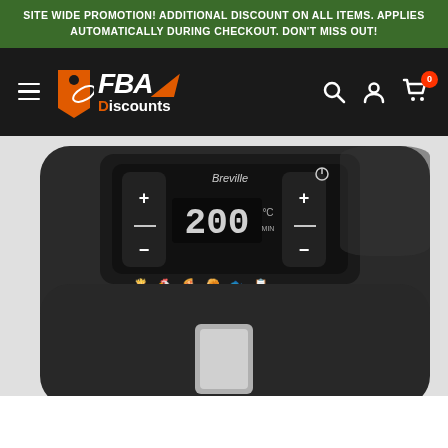SITE WIDE PROMOTION! ADDITIONAL DISCOUNT ON ALL ITEMS. APPLIES AUTOMATICALLY DURING CHECKOUT. DON'T MISS OUT!
[Figure (screenshot): FBA Discounts e-commerce website header with navigation bar showing hamburger menu, FBA Discounts logo, and cart/account/search icons]
[Figure (photo): Breville air fryer product photo showing the top control panel with digital display showing 200°C, plus/minus buttons, preset cooking icons, and a stainless steel handle visible at the bottom]